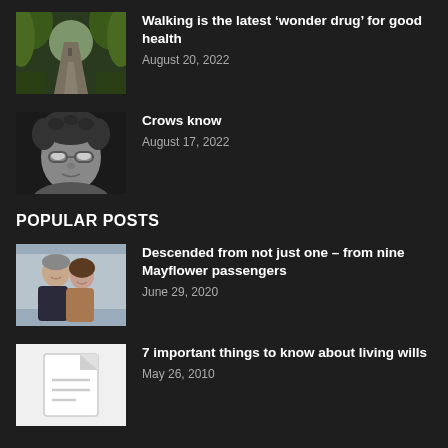[Figure (photo): Green tree-lined path/road in summer]
Walking is the latest ‘wonder drug’ for good health
August 20, 2022
[Figure (photo): Black and white portrait of an older person with glasses and curly hair]
Crows know
August 17, 2022
POPULAR POSTS
[Figure (photo): A man and woman smiling together outdoors]
Descended from not just one – from nine Mayflower passengers
June 29, 2020
[Figure (illustration): Document/page icon on white background]
7 important things to know about living wills
May 26, 2010